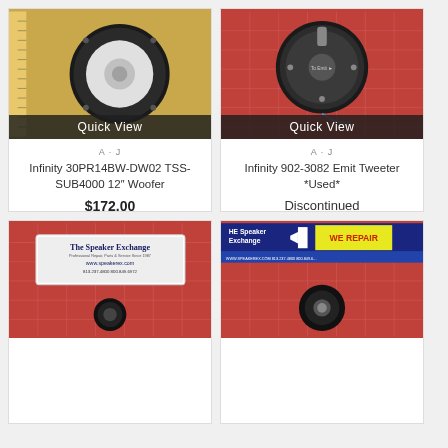[Figure (photo): Product photo of Infinity 30PR14BW-DW02 TSS-SUB4000 12in Woofer speaker, viewed from front, on yellow background with ruler visible. Has Quick View overlay bar at bottom.]
A · J
Infinity 30PR14BW-DW02 TSS-SUB4000 12" Woofer
$172.00
ADD TO CART
[Figure (photo): Product photo of Infinity 902-3082 Emit Tweeter *Used*, rear view of circular tweeter on red grid background. Has Quick View overlay bar at bottom.]
A · J
Infinity 902-3082 Emit Tweeter *Used*
Discontinued
READ MORE
[Figure (photo): Product photo showing a speaker with The Speaker Exchange label on red grid background. The Speaker Exchange logo: Professional Repair, Parts & Service Since 1987, WWW.SPEAKEREX.COM, 813.237.4800, 800.849.6972]
[Figure (photo): Product photo showing a speaker component on red grid background with The Speaker Exchange banner: HE Speaker Exchange, WE REPAIR, WWW.SPEAKEREX.COM, 813.237.4800, 800.849.6...]